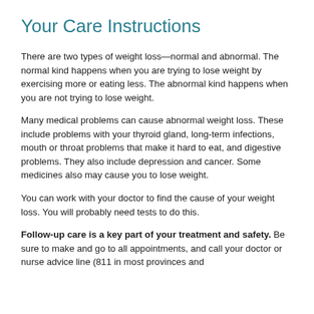Your Care Instructions
There are two types of weight loss—normal and abnormal. The normal kind happens when you are trying to lose weight by exercising more or eating less. The abnormal kind happens when you are not trying to lose weight.
Many medical problems can cause abnormal weight loss. These include problems with your thyroid gland, long-term infections, mouth or throat problems that make it hard to eat, and digestive problems. They also include depression and cancer. Some medicines also may cause you to lose weight.
You can work with your doctor to find the cause of your weight loss. You will probably need tests to do this.
Follow-up care is a key part of your treatment and safety. Be sure to make and go to all appointments, and call your doctor or nurse advice line (811 in most provinces and